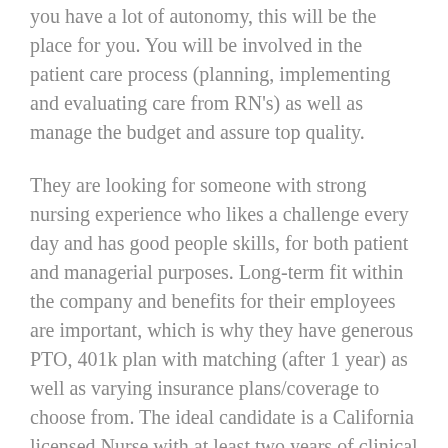you have a lot of autonomy, this will be the place for you. You will be involved in the patient care process (planning, implementing and evaluating care from RN's) as well as manage the budget and assure top quality.
They are looking for someone with strong nursing experience who likes a challenge every day and has good people skills, for both patient and managerial purposes. Long-term fit within the company and benefits for their employees are important, which is why they have generous PTO, 401k plan with matching (after 1 year) as well as varying insurance plans/coverage to choose from. The ideal candidate is a California licensed Nurse with at least two years of clinical experience in a skilled nursing facility. Previous management experience is required – preferable in a SNF but will consider candidates with Acute Care management